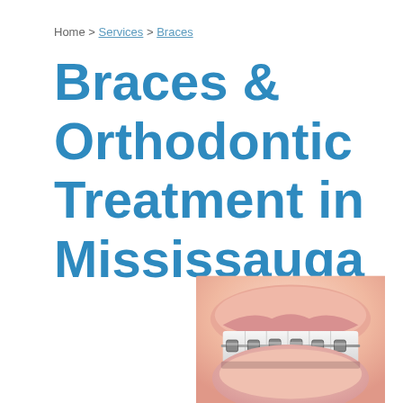Home > Services > Braces
Braces & Orthodontic Treatment in Mississauga
[Figure (photo): Close-up photo of a smiling mouth showing teeth with metal dental braces and wire brackets]